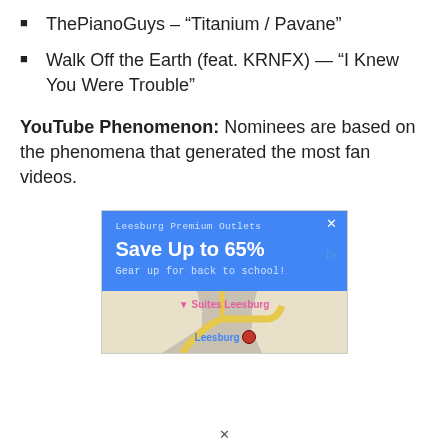ThePianoGuys – “Titanium / Pavane”
Walk Off the Earth (feat. KRNFX) — “I Knew You Were Trouble”
YouTube Phenomenon: Nominees are based on the phenomena that generated the most fan videos.
[Figure (screenshot): Google advertisement for Leesburg Premium Outlets: 'Save Up to 65% Gear up for back to school!' with a map showing Suites Leesburg and Leesburg location marker, and close/play icons in top right corner.]